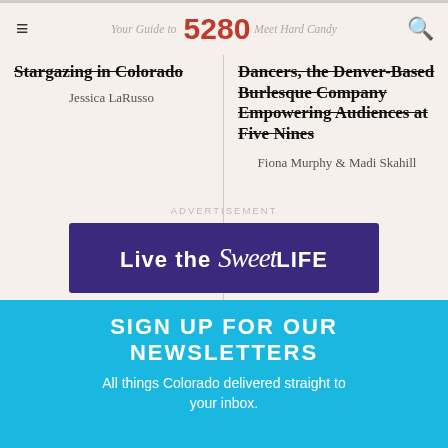Your Guide to 5280 Meet Hard Candy
Stargazing in Colorado
Jessica LaRusso
Meet Hard Candy Dancers, the Denver-Based Burlesque Company Empowering Audiences at Five Nines
Fiona Murphy & Madi Skahill
ADVERTISEMENT
[Figure (illustration): Purple banner ad reading 'Live the Sweet LIFE']
SIGN UP FOR OUR NEWSLETTERS
All things Colorado delivered straight to your inbox.